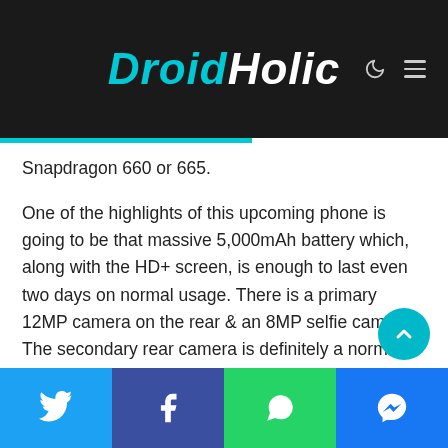DroidHolic
Snapdragon 660 or 665.
One of the highlights of this upcoming phone is going to be that massive 5,000mAh battery which, along with the HD+ screen, is enough to last even two days on normal usage. There is a primary 12MP camera on the rear & an 8MP selfie camera. The secondary rear camera is definitely a normal depth sensor.
The Redmi 7 launched in March & since Xiaomi usually launches the successor after six months, we are expecting the Redmi 8 to launch in China soon, maybe next month.
Social share buttons: Twitter, Facebook, WhatsApp, Messenger